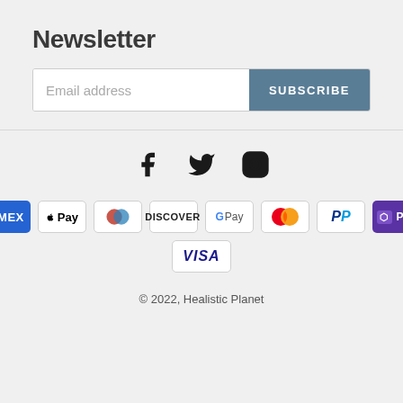Newsletter
[Figure (screenshot): Email address input field with SUBSCRIBE button]
[Figure (infographic): Social media icons: Facebook, Twitter, Instagram]
[Figure (infographic): Payment method icons: American Express, Apple Pay, Diners Club, Discover, Google Pay, Mastercard, PayPal, Shop Pay, Visa]
© 2022, Healistic Planet